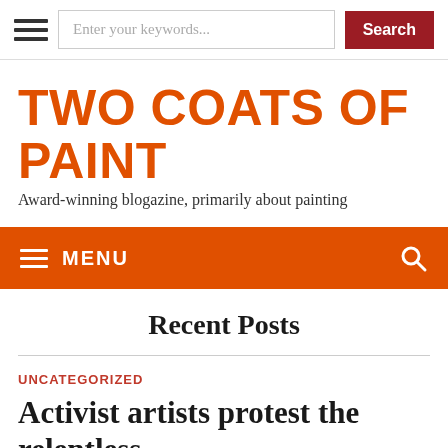Enter your keywords... Search
TWO COATS OF PAINT
Award-winning blogazine, primarily about painting
MENU
Recent Posts
UNCATEGORIZED
Activist artists protest the relentless